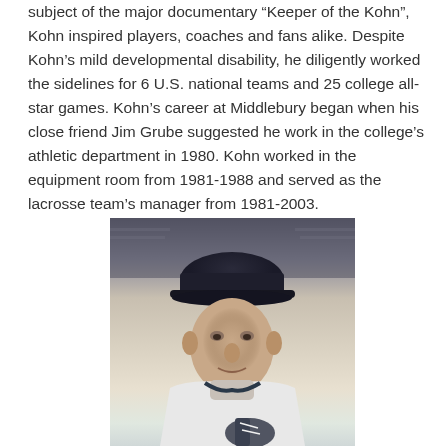subject of the major documentary “Keeper of the Kohn”, Kohn inspired players, coaches and fans alike. Despite Kohn’s mild developmental disability, he diligently worked the sidelines for 6 U.S. national teams and 25 college all-star games. Kohn’s career at Middlebury began when his close friend Jim Grube suggested he work in the college’s athletic department in 1980. Kohn worked in the equipment room from 1981-1988 and served as the lacrosse team’s manager from 1981-2003.
[Figure (photo): Black and white or slightly desaturated photograph of an older man wearing a dark cap with letters, dressed in a white sweatshirt, holding lacrosse equipment. He is smiling slightly and looking at the camera.]